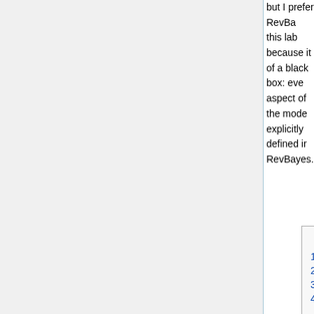but I prefer RevBayes for this lab because it is less of a black box: every aspect of the model is explicitly defined in RevBayes.
| Contents |
| --- |
| 1 Getting started |
| 2 Login to Xanadu |
| 3 Create a directory |
| 4 Simulating and analyzing under the strict clock model |
| 4.1 PAML evolver |
| 4.1.1 Simulate a tree |
| 4.1.2 Simulate sequences |
| 5 Use RevBayes to estimate the birth rate and clock rate |
| 5.1 Set up the tree submodel |
| 5.2 Set up the strict clock submodel |
| 5.3 Set up the substitution |